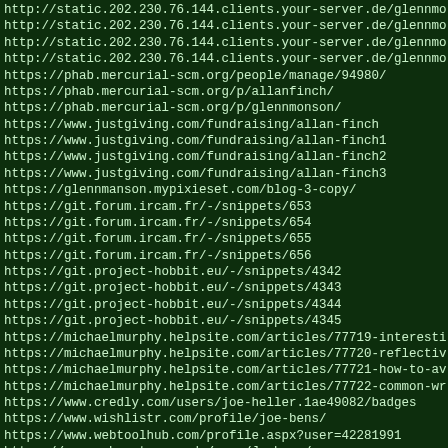http://static.202.230.76.144.clients.your-server.de/glennmo
http://static.202.230.76.144.clients.your-server.de/glennmo
http://static.202.230.76.144.clients.your-server.de/glennmo
http://static.202.230.76.144.clients.your-server.de/glennmo
https://phab.mercurial-scm.org/people/manage/94980/
https://phab.mercurial-scm.org/p/allanfinch/
https://phab.mercurial-scm.org/p/glennmonson/
https://www.justgiving.com/fundraising/allan-finch
https://www.justgiving.com/fundraising/allan-finch1
https://www.justgiving.com/fundraising/allan-finch2
https://www.justgiving.com/fundraising/allan-finch3
https://glennmanson.mypixieset.com/blog-3-copy/
https://git.forum.ircam.fr/-/snippets/653
https://git.forum.ircam.fr/-/snippets/654
https://git.forum.ircam.fr/-/snippets/655
https://git.forum.ircam.fr/-/snippets/656
https://git.project-hobbit.eu/-/snippets/4342
https://git.project-hobbit.eu/-/snippets/4343
https://git.project-hobbit.eu/-/snippets/4344
https://git.project-hobbit.eu/-/snippets/4345
https://michaelmurphy.helpsite.com/articles/77719-interesti
https://michaelmurphy.helpsite.com/articles/77720-reflectiv
https://michaelmurphy.helpsite.com/articles/77721-how-to-av
https://michaelmurphy.helpsite.com/articles/77722-common-wr
https://www.credly.com/users/joe-heller.1ae49082/badges
https://www.wishlistr.com/profile/joe-bens/
https://www.webtoolhub.com/profile.aspx?user=42281991
https://www.webmasterpro.de/user/Joebens/
https://www.wantedly.com/id/joe_heller